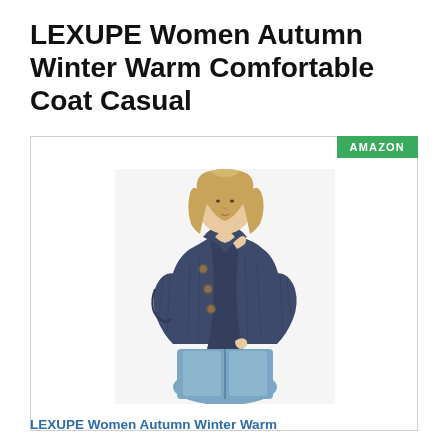LEXUPE Women Autumn Winter Warm Comfortable Coat Casual
[Figure (photo): Product photo of a woman wearing a navy blue chunky knit wrap sweater coat with button details and cowl neck, paired with jeans. Amazon marketplace listing image.]
LEXUPE Women Autumn Winter Warm